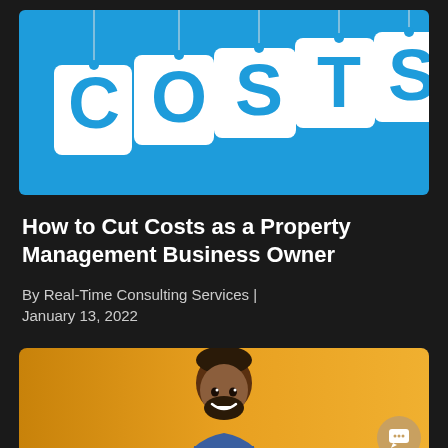[Figure (illustration): Blue background image showing large white letters 'COS TS' hanging like price tags on strings, representing costs concept]
How to Cut Costs as a Property Management Business Owner
By Real-Time Consulting Services | January 13, 2022
[Figure (photo): Photo of a smiling man with dark hair and beard against a warm golden/orange background, with a chat bubble icon in the bottom right corner]